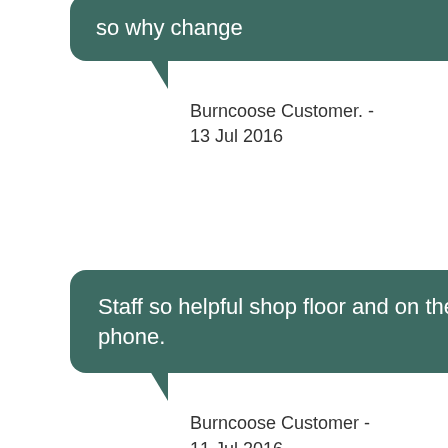so why change
Burncoose Customer. - 13 Jul 2016
Staff so helpful shop floor and on the phone.
Burncoose Customer - 11 Jul 2016
I called this morning with an order saved in my basket. The lady on the phone was so helpful and guided me through so that I could collect